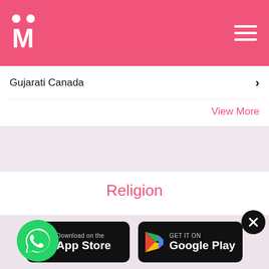Matrimony site header with logo M and hamburger menu
Gujarati Canada
View More
Religion
Jain Canada
Hindu Canada
an Canada
Muslim Canada
[Figure (logo): WhatsApp green circle icon overlay]
[Figure (logo): Download on the App Store badge]
[Figure (logo): GET IT ON Google Play badge]
[Figure (other): Close/X button circle]